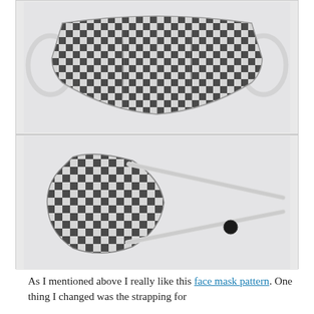[Figure (photo): Two photos of black and white gingham/checkered fabric face masks on a light gray background. Top photo shows a pleated face mask with elastic ear loops laid flat. Bottom photo shows a fitted face mask with white elastic head straps and a small black toggle/bead on the strap.]
As I mentioned above I really like this face mask pattern. One thing I changed was the strapping for